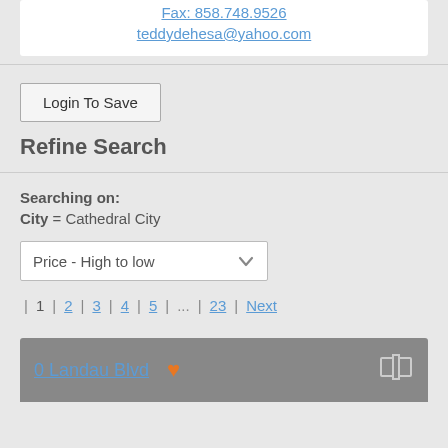Fax: 858.748.9526
teddydehesa@yahoo.com
Login To Save
Refine Search
Searching on:
City = Cathedral City
Price - High to low
| 1 | 2 | 3 | 4 | 5 | ... | 23 | Next
0 Landau Blvd